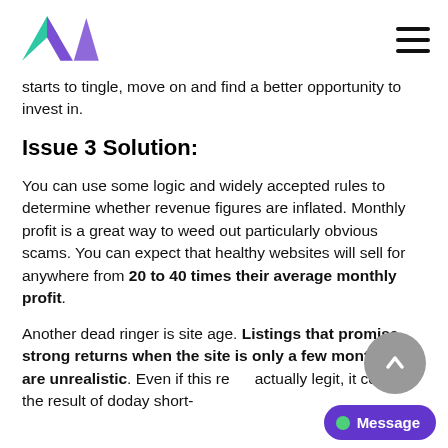[Logo: M / Mergers & Acquisitions] [Hamburger menu]
starts to tingle, move on and find a better opportunity to invest in.
Issue 3 Solution:
You can use some logic and widely accepted rules to determine whether revenue figures are inflated. Monthly profit is a great way to weed out particularly obvious scams. You can expect that healthy websites will sell for anywhere from 20 to 40 times their average monthly profit.
Another dead ringer is site age. Listings that promise strong returns when the site is only a few months old are unrealistic. Even if this re... actually legit, it could be the result of doday short-